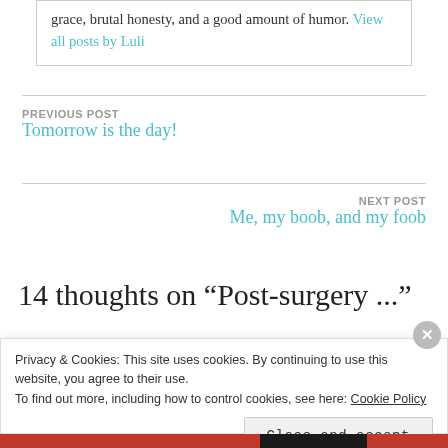grace, brutal honesty, and a good amount of humor. View all posts by Luli
PREVIOUS POST
Tomorrow is the day!
NEXT POST
Me, my boob, and my foob
14 thoughts on “Post-surgery...
Privacy & Cookies: This site uses cookies. By continuing to use this website, you agree to their use. To find out more, including how to control cookies, see here: Cookie Policy
Close and accept